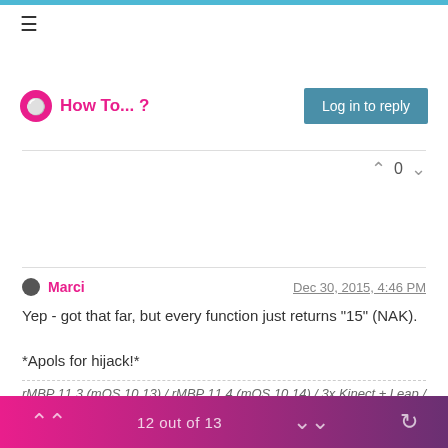How To... ?
Yep - got that far, but every function just returns "15" (NAK).

*Apols for hijack!*
rMBP 11,3 (mOS 10.13) / rMBP 11,4 (mOS 10.14) / 3x Kinect + Leap / TH2Go
Warning: autistic - may come across rather blunt and lacking in humour!
12 out of 13